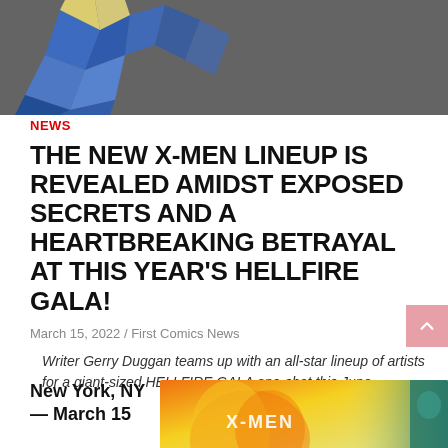[Figure (illustration): Top banner with dark gray background showing partial geometric diamond/crystal shapes in blue and yellow on the left side — appears to be a partial logo]
NEWS
THE NEW X-MEN LINEUP IS REVEALED AMIDST EXPOSED SECRETS AND A HEARTBREAKING BETRAYAL AT THIS YEAR'S HELLFIRE GALA!
March 15, 2022 / First Comics News
Writer Gerry Duggan teams up with an all-star lineup of artists for a giant-sized HELLFIRE GALA one-shot this June
New York, NY— March 15
[Figure (illustration): Comic book cover or preview art showing X-Men characters with fiery orange and yellow tones, featuring the X-MEN logo text, with a teal/green figure visible on the right edge]